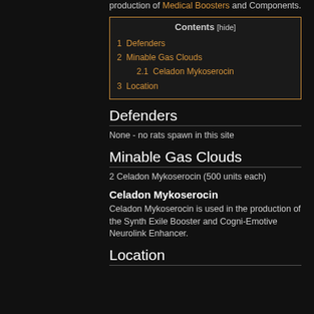production of Medical Boosters and Components.
1  Defenders
2  Minable Gas Clouds
2.1  Celadon Mykoserocin
3  Location
Defenders
None - no rats spawn in this site
Minable Gas Clouds
2 Celadon Mykoserocin (500 units each)
Celadon Mykoserocin
Celadon Mykoserocin is used in the production of the Synth Exile Booster and Cogni-Emotive Neurolink Enhancer.
Location